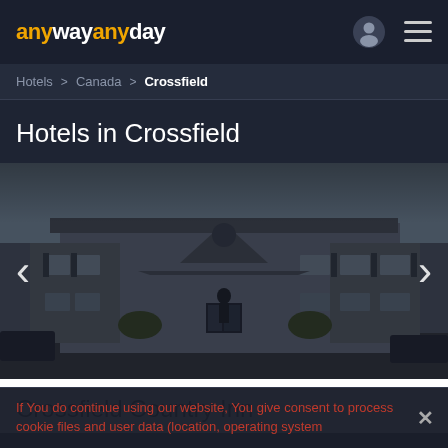anywayanyday
Hotels > Canada > Crossfield
Hotels in Crossfield
[Figure (photo): Exterior photo of Crossfield Country Inn, a two-storey building with a peaked entrance canopy, light grey siding, dark shutters, and a parking area. Carousel navigation arrows visible on left and right.]
Crossfield Country Inn
If You do continue using our website, You give consent to process cookie files and user data (location, operating system